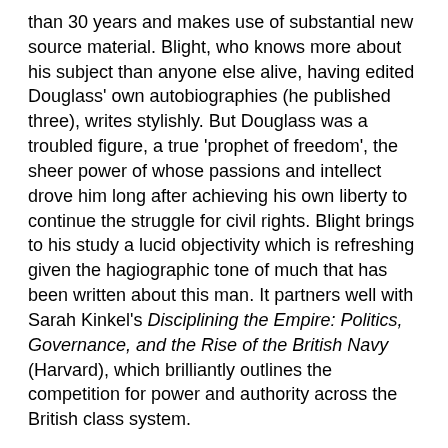than 30 years and makes use of substantial new source material. Blight, who knows more about his subject than anyone else alive, having edited Douglass' own autobiographies (he published three), writes stylishly. But Douglass was a troubled figure, a true 'prophet of freedom', the sheer power of whose passions and intellect drove him long after achieving his own liberty to continue the struggle for civil rights. Blight brings to his study a lucid objectivity which is refreshing given the hagiographic tone of much that has been written about this man. It partners well with Sarah Kinkel's Disciplining the Empire: Politics, Governance, and the Rise of the British Navy (Harvard), which brilliantly outlines the competition for power and authority across the British class system.
Edith Hall is Professor of Classics at King's College London.
Michael Burleigh